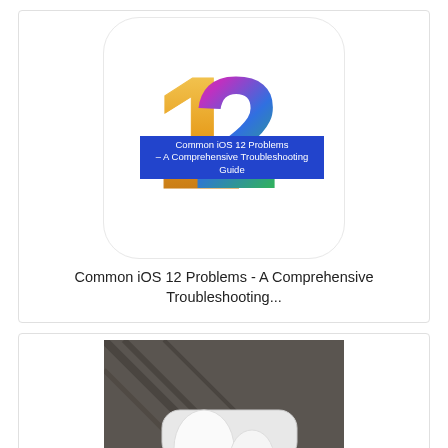[Figure (illustration): iOS 12 app icon with '12' in colorful gradient letters on white rounded rectangle background, with a blue overlay banner text reading 'Common iOS 12 Problems – A Comprehensive Troubleshooting Guide']
Common iOS 12 Problems - A Comprehensive Troubleshooting...
[Figure (photo): AirPods Pro in open white charging case on a dark wood surface]
AirPods Pro---The Complete Guide
[Figure (photo): Partially visible third card with pink/purple gradient background at the bottom of the page]